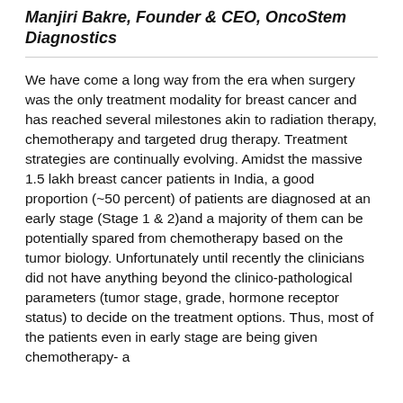Manjiri Bakre, Founder & CEO, OncoStem Diagnostics
We have come a long way from the era when surgery was the only treatment modality for breast cancer and has reached several milestones akin to radiation therapy, chemotherapy and targeted drug therapy. Treatment strategies are continually evolving. Amidst the massive 1.5 lakh breast cancer patients in India, a good proportion (~50 percent) of patients are diagnosed at an early stage (Stage 1 & 2)and a majority of them can be potentially spared from chemotherapy based on the tumor biology. Unfortunately until recently the clinicians did not have anything beyond the clinico-pathological parameters (tumor stage, grade, hormone receptor status) to decide on the treatment options. Thus, most of the patients even in early stage are being given chemotherapy- a